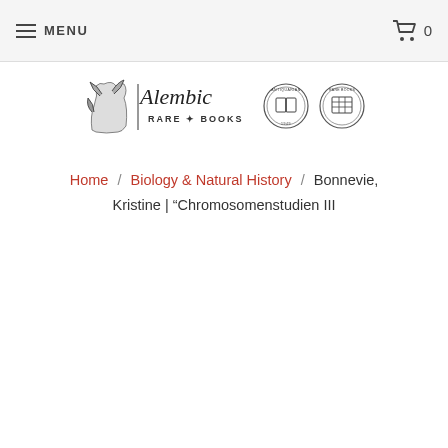MENU | 0
[Figure (logo): Alembic Rare Books logo with decorative illustration and two association seals]
Home / Biology & Natural History / Bonnevie, Kristine | "Chromosomenstudien III